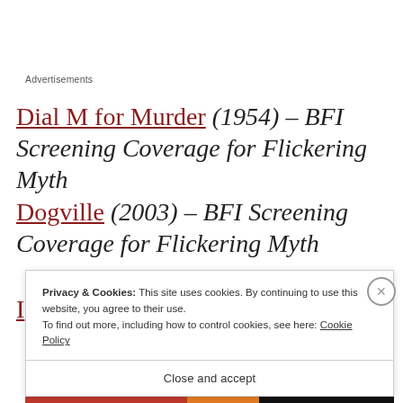Advertisements
Dial M for Murder (1954) – BFI Screening Coverage for Flickering Myth
Dogville (2003) – BFI Screening Coverage for Flickering Myth
Privacy & Cookies: This site uses cookies. By continuing to use this website, you agree to their use.
To find out more, including how to control cookies, see here: Cookie Policy
Close and accept